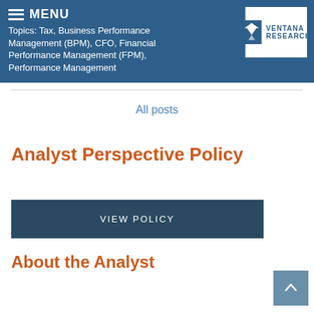Topics: Tax, Business Performance Management (BPM), CFO, Financial Performance Management (FPM), Performance Management
[Figure (logo): Ventana Research logo with V symbol and text VENTANA RESEARCH]
All posts
Analyst Perspective Policy
VIEW POLICY
About the Analyst